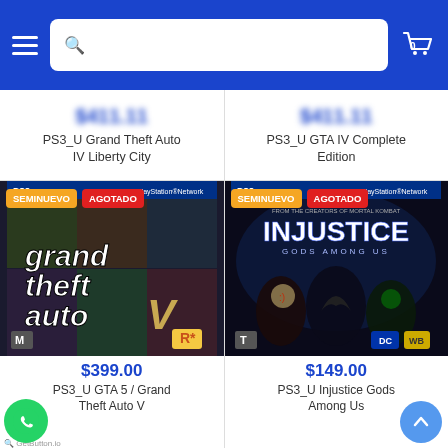Search bar with hamburger menu and cart icon
PS3_U Grand Theft Auto IV Liberty City
PS3_U GTA IV Complete Edition
[Figure (screenshot): PS3 game cover for Grand Theft Auto V (GTA5) showing characters and title]
SEMINUEVO
AGOTADO
$399.00
PS3_U GTA 5 / Grand Theft Auto V
[Figure (screenshot): PS3 game cover for Injustice Gods Among Us showing superhero characters]
SEMINUEVO
AGOTADO
$149.00
PS3_U Injustice Gods Among Us